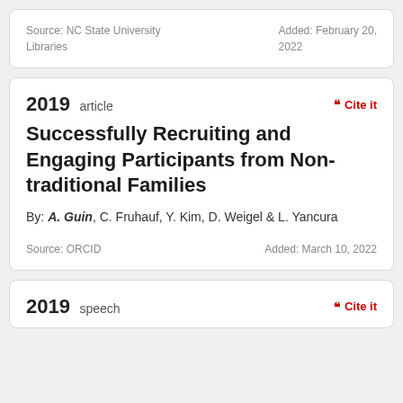Source: NC State University Libraries
Added: February 20, 2022
2019 article
Cite it
Successfully Recruiting and Engaging Participants from Non-traditional Families
By: A. Guin, C. Fruhauf, Y. Kim, D. Weigel & L. Yancura
Source: ORCID
Added: March 10, 2022
2019 speech
Cite it